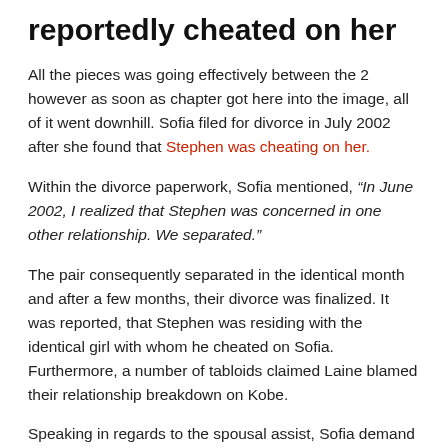reportedly cheated on her
All the pieces was going effectively between the 2 however as soon as chapter got here into the image, all of it went downhill. Sofia filed for divorce in July 2002 after she found that Stephen was cheating on her.
Within the divorce paperwork, Sofia mentioned, “In June 2002, I realized that Stephen was concerned in one other relationship. We separated.”
The pair consequently separated in the identical month and after a few months, their divorce was finalized. It was reported, that Stephen was residing with the identical girl with whom he cheated on Sofia. Furthermore, a number of tabloids claimed Laine blamed their relationship breakdown on Kobe.
Speaking in regards to the spousal assist, Sofia demand